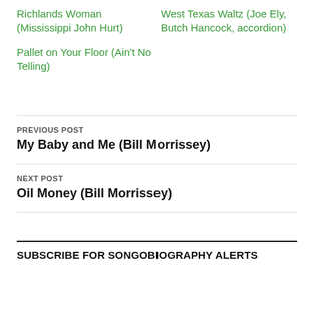Richlands Woman (Mississippi John Hurt)
West Texas Waltz (Joe Ely, Butch Hancock, accordion)
Pallet on Your Floor (Ain't No Telling)
PREVIOUS POST
My Baby and Me (Bill Morrissey)
NEXT POST
Oil Money (Bill Morrissey)
SUBSCRIBE FOR SONGOBIOGRAPHY ALERTS